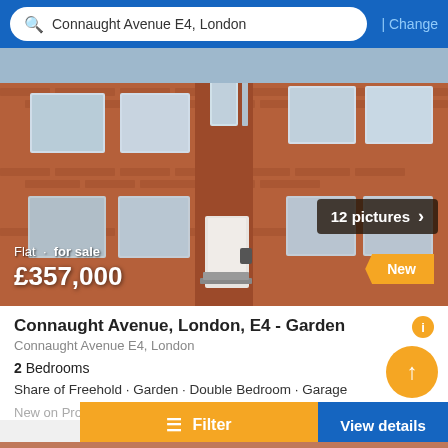Connaught Avenue E4, London | Change
[Figure (photo): Exterior photo of a red brick flat building, 3 storeys, multiple white-framed windows, front entrance with steps. Badge: '12 pictures ›'. Overlay: 'Flat · for sale £357,000'. Badge: 'New'.]
Connaught Avenue, London, E4 - Garden
Connaught Avenue E4, London
2 Bedrooms
Share of Freehold · Garden · Double Bedroom · Garage
New on Property.xy...
Filter | View details